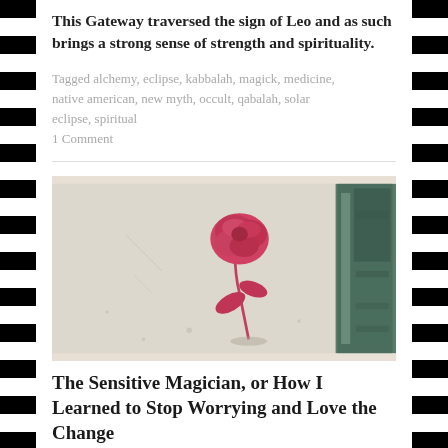This Gateway traversed the sign of Leo and as such brings a strong sense of strength and spirituality.
Tagged alchemy, eclipse, kabbalah, magick, medicine, native american, new myth, occult, qabalah, solar eclipse, spiritual
1 Comment
[Figure (photo): A pink/red rose stencil graffiti spray-painted on a pale crumbling wall, with a teal/green weathered door or surface visible on the right side.]
The Sensitive Magician, or How I Learned to Stop Worrying and Love the Change